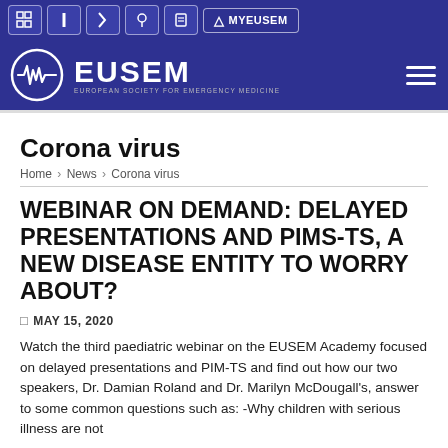MYEUSEM
[Figure (logo): EUSEM (European Society for Emergency Medicine) logo with navigation bar]
Corona virus
Home › News › Corona virus
WEBINAR ON DEMAND: DELAYED PRESENTATIONS AND PIMS-TS, A NEW DISEASE ENTITY TO WORRY ABOUT?
MAY 15, 2020
Watch the third paediatric webinar on the EUSEM Academy focused on delayed presentations and PIM-TS and find out how our two speakers, Dr. Damian Roland and Dr. Marilyn McDougall's, answer to some common questions such as: -Why children with serious illness are not